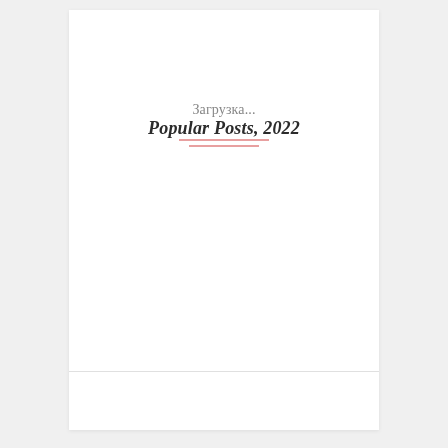Загрузка...
Popular Posts, 2022